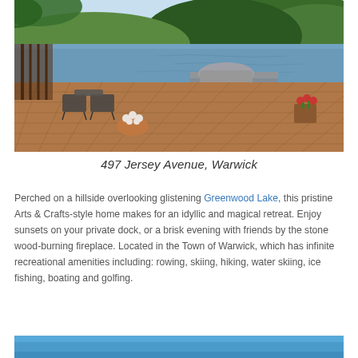[Figure (photo): Lakefront patio with brick pavers, outdoor furniture, flower pots, a boat dock extending into Greenwood Lake, and forested hills in the background]
497 Jersey Avenue, Warwick
Perched on a hillside overlooking glistening Greenwood Lake, this pristine Arts & Crafts-style home makes for an idyllic and magical retreat. Enjoy sunsets on your private dock, or a brisk evening with friends by the stone wood-burning fireplace. Located in the Town of Warwick, which has infinite recreational amenities including: rowing, skiing, hiking, water skiing, ice fishing, boating and golfing.
[Figure (photo): Partial view of another property photo at the bottom of the page]